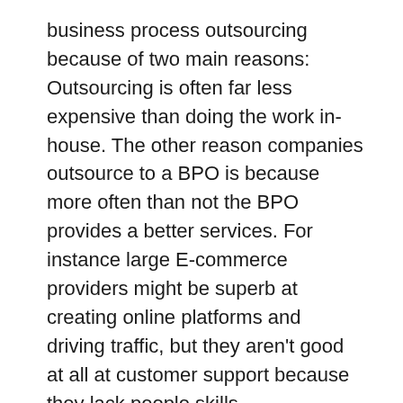business process outsourcing because of two main reasons: Outsourcing is often far less expensive than doing the work in-house. The other reason companies outsource to a BPO is because more often than not the BPO provides a better services. For instance large E-commerce providers might be superb at creating online platforms and driving traffic, but they aren't good at all at customer support because they lack people skills
Symphony are one of the leading Business Process Outsourcing (BPO) partner in Malaysia. They are the partner of choice to over 3,000 clients from public listed companies to Fortune Global 500 organisations across the world. As leaders in our field, they help businesses flourish by providing high quality BPO services supported by professional people, capabilities